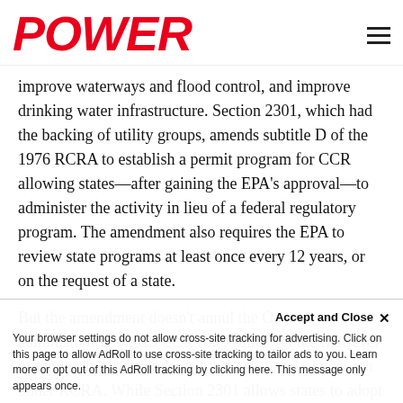POWER
improve waterways and flood control, and improve drinking water infrastructure. Section 2301, which had the backing of utility groups, amends subtitle D of the 1976 RCRA to establish a permit program for CCR allowing states—after gaining the EPA's approval—to administer the activity in lieu of a federal regulatory program. The amendment also requires the EPA to review state programs at least once every 12 years, or on the request of a state.
But the amendment doesn't annul the Obama administration's 2015 CCR rule, which set the first-ever minimum federal standards for the disposal of coal ash under RCRA. While Section 2301 allows states to adopt different technical standards that we
Your browser settings do not allow cross-site tracking for advertising. Click on this page to allow AdRoll to use cross-site tracking to tailor ads to you. Learn more or opt out of this AdRoll tracking by clicking here. This message only appears once.